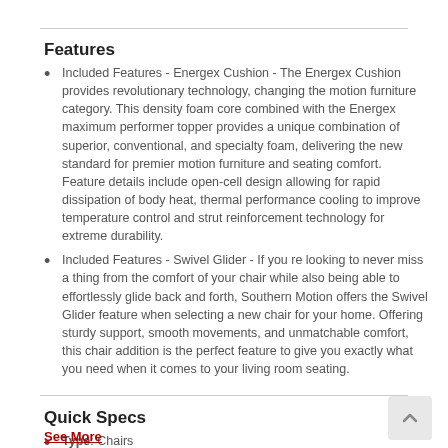Features
Included Features - Energex Cushion - The Energex Cushion provides revolutionary technology, changing the motion furniture category. This density foam core combined with the Energex maximum performer topper provides a unique combination of superior, conventional, and specialty foam, delivering the new standard for premier motion furniture and seating comfort. Feature details include open-cell design allowing for rapid dissipation of body heat, thermal performance cooling to improve temperature control and strut reinforcement technology for extreme durability.
Included Features - Swivel Glider - If you re looking to never miss a thing from the comfort of your chair while also being able to effortlessly glide back and forth, Southern Motion offers the Swivel Glider feature when selecting a new chair for your home. Offering sturdy support, smooth movements, and unmatchable comfort, this chair addition is the perfect feature to give you exactly what you need when it comes to your living room seating.
Quick Specs
Type: Chairs
See More